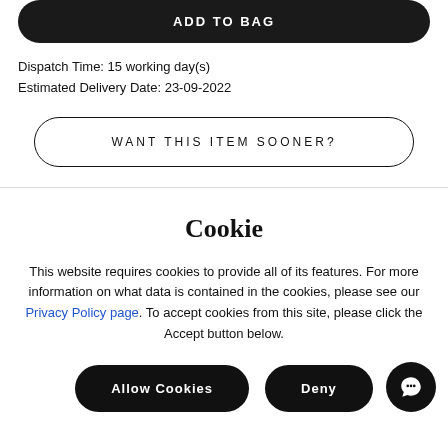ADD TO BAG
Dispatch Time: 15 working day(s)
Estimated Delivery Date: 23-09-2022
WANT THIS ITEM SOONER?
Cookie
This website requires cookies to provide all of its features. For more information on what data is contained in the cookies, please see our Privacy Policy page. To accept cookies from this site, please click the Accept button below.
Allow Cookies
Deny